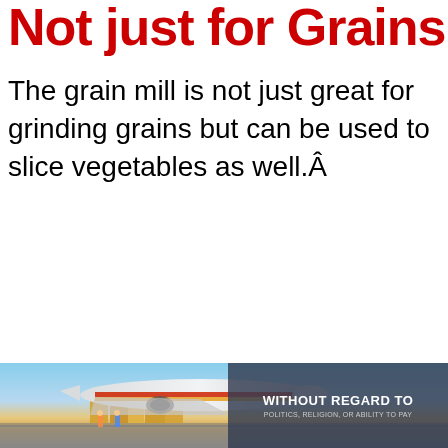Not just for Grains
The grain mill is not just great for grinding grains but can be used to slice vegetables as well.Â
[Figure (photo): Advertisement banner showing a cargo airplane being loaded with freight on a tarmac, with a dark overlay on the right containing text 'WITHOUT REGARD TO POLITICS, RELIGION, OR ABILITY TO PAY']